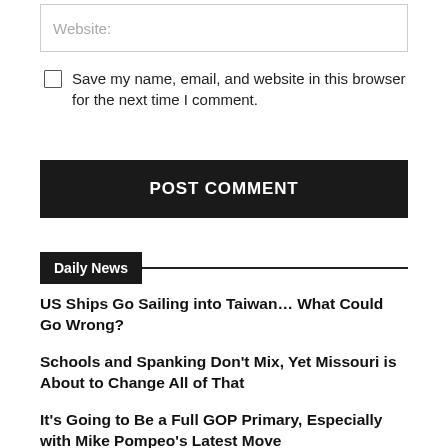Website:
Save my name, email, and website in this browser for the next time I comment.
POST COMMENT
Daily News
US Ships Go Sailing into Taiwan… What Could Go Wrong?
Schools and Spanking Don't Mix, Yet Missouri is About to Change All of That
It's Going to Be a Full GOP Primary, Especially with Mike Pompeo's Latest Move